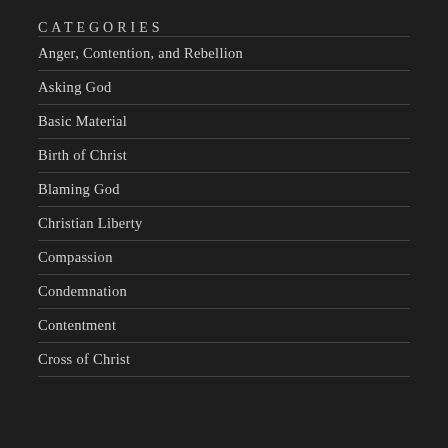CATEGORIES
Anger, Contention, and Rebellion
Asking God
Basic Material
Birth of Christ
Blaming God
Christian Liberty
Compassion
Condemnation
Contentment
Cross of Christ